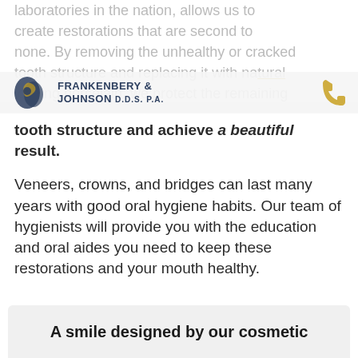laboratories in the nation, allows us to create restorations that are second to none. By removing the unhealthy or cracked tooth structure and replacing it with natural looking porcelain, we protect the remaining tooth structure and achieve a beautiful result.
[Figure (logo): Frankenbery & Johnson DDS PA dental practice logo with tooth icon and phone icon]
Veneers, crowns, and bridges can last many years with good oral hygiene habits. Our team of hygienists will provide you with the education and oral aides you need to keep these restorations and your mouth healthy.
A smile designed by our cosmetic